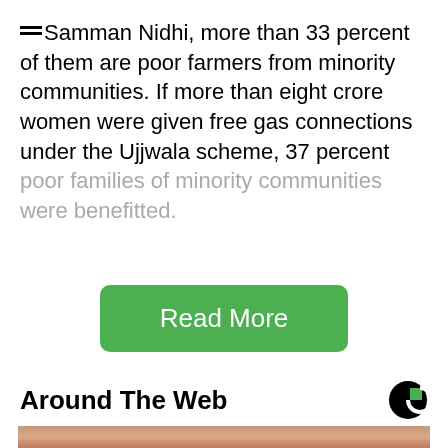Samman Nidhi, more than 33 percent of them are poor farmers from minority communities. If more than eight crore women were given free gas connections under the Ujjwala scheme, 37 percent poor families of minority communities were benefitted.
Read More
Around The Web
[Figure (photo): Close-up photo of a woman's face with eyes closed, eyebrows visible, skin with moisture or cream applied]